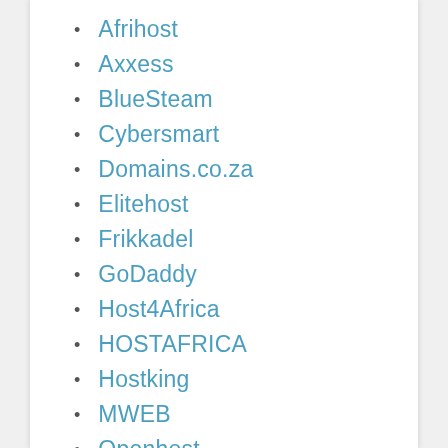Afrihost
Axxess
BlueSteam
Cybersmart
Domains.co.za
Elitehost
Frikkadel
GoDaddy
Host4Africa
HOSTAFRICA
Hostking
MWEB
Openhost
Ramkat
Smartweb
Stallion Hosting